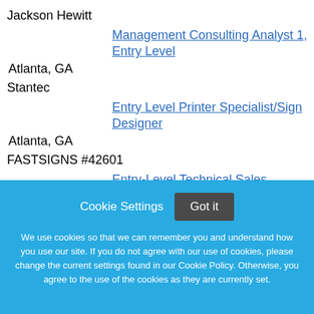Jackson Hewitt
Management Consulting Analyst 1, Entry Level
Atlanta, GA
Stantec
Entry Level Printer Specialist/Sign Designer
Atlanta, GA
FASTSIGNS #42601
Entry-Level Technical Sales Representative
Cookie Settings   Got it

We use cookies so that we can remember you and understand how you use our site. If you do not agree with our use of cookies, please change the current settings found in our Cookie Policy. Otherwise, you agree to the use of the cookies as they are currently set.